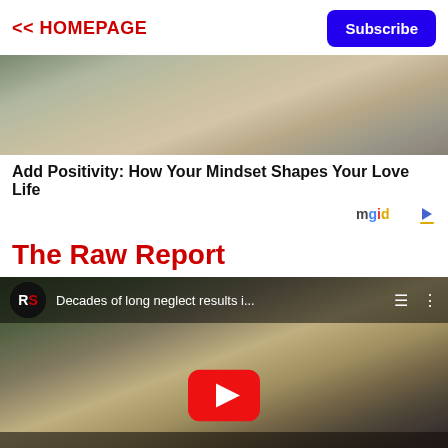<< HOMEPAGE
Subscribe
[Figure (photo): Top portion of a photo showing a person outdoors, partially cropped]
Add Positivity: How Your Mindset Shapes Your Love Life
[Figure (logo): mgid logo with play icon]
The Raw Report
[Figure (screenshot): YouTube video thumbnail showing a man bending over working with a hose near a truck, with RS logo and title 'Decades of long neglect results i...' and a red YouTube play button overlay]